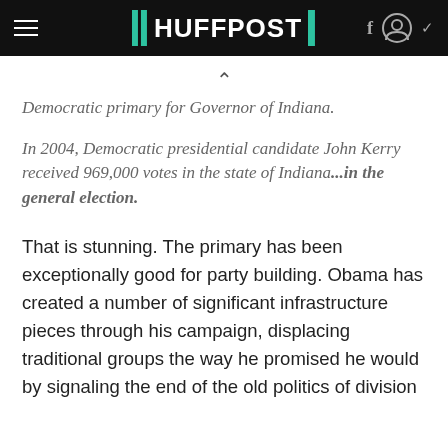HUFFPOST
Democratic primary for Governor of Indiana.
In 2004, Democratic presidential candidate John Kerry received 969,000 votes in the state of Indiana...in the general election.
That is stunning. The primary has been exceptionally good for party building. Obama has created a number of significant infrastructure pieces through his campaign, displacing traditional groups the way he promised he would by signaling the end of the old politics of division